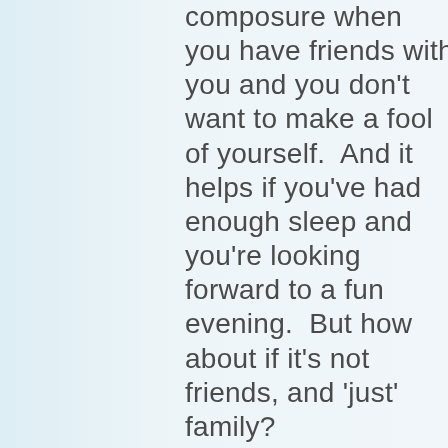composure when you have friends with you and you don't want to make a fool of yourself.  And it helps if you've had enough sleep and you're looking forward to a fun evening.  But how about if it's not friends, and 'just' family?  How about if